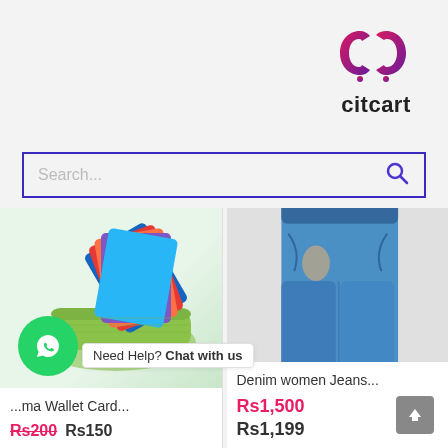[Figure (logo): Citcart logo with stylized CC icon in pink/purple gradient and dark text 'citcart' below]
[Figure (screenshot): Search bar with placeholder text 'Search...' and purple search icon on right]
[Figure (photo): Green aluminum wallet card holder with multiple credit cards fanned out]
...ma Wallet Card...
Rs200  Rs150
[Figure (photo): Person wearing blue denim women jeans, waist-to-knee view]
Denim women Jeans...
Rs1,500
Rs1,199
Need Help? Chat with us